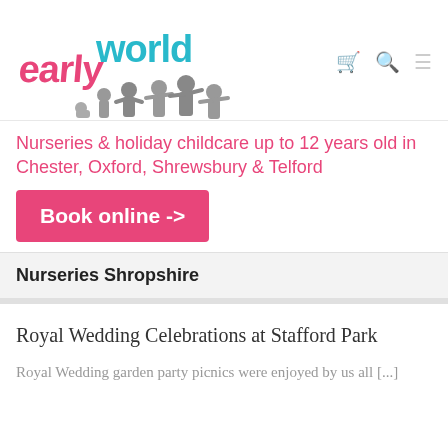[Figure (logo): Earlyworld logo with colourful text and silhouettes of children holding letters]
Nurseries & holiday childcare up to 12 years old in Chester, Oxford, Shrewsbury & Telford
Book online ->
Nurseries Shropshire
Royal Wedding Celebrations at Stafford Park
Royal Wedding garden party picnics were enjoyed by us all [...]